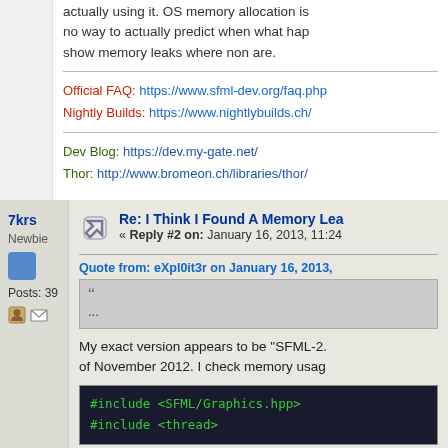actually using it. OS memory allocation is no way to actually predict when what hap show memory leaks where non are.
Official FAQ: https://www.sfml-dev.org/faq.php
Nightly Builds: https://www.nightlybuilds.ch/
Dev Blog: https://dev.my-gate.net/
Thor: http://www.bromeon.ch/libraries/thor/
7krs
Newbie
Posts: 39
Re: I Think I Found A Memory Lea
« Reply #2 on: January 16, 2013, 11:24
Quote from: eXpl0it3r on January 16, 2013,
...
My exact version appears to be "SFML-2. of November 2012. I check memory usag
#include <SFML/Graphics.hpp>
#include <thread>